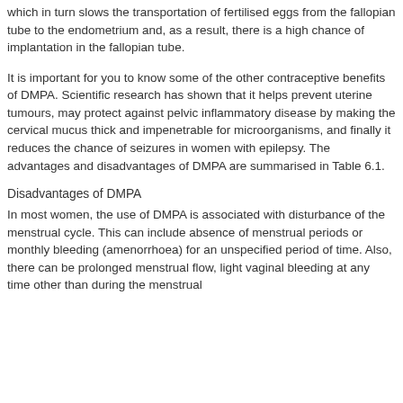which in turn slows the transportation of fertilised eggs from the fallopian tube to the endometrium and, as a result, there is a high chance of implantation in the fallopian tube.
It is important for you to know some of the other contraceptive benefits of DMPA. Scientific research has shown that it helps prevent uterine tumours, may protect against pelvic inflammatory disease by making the cervical mucus thick and impenetrable for microorganisms, and finally it reduces the chance of seizures in women with epilepsy. The advantages and disadvantages of DMPA are summarised in Table 6.1.
Disadvantages of DMPA
In most women, the use of DMPA is associated with disturbance of the menstrual cycle. This can include absence of menstrual periods or monthly bleeding (amenorrhoea) for an unspecified period of time. Also, there can be prolonged menstrual flow, light vaginal bleeding at any time other than during the menstrual